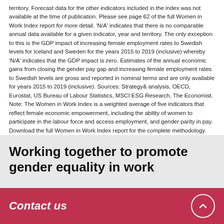territory. Forecast data for the other indicators included in the index was not available at the time of publication. Please see page 62 of the full Women in Work Index report for more detail. 'N/A' indicates that there is no comparable annual data available for a given indicator, year and territory. The only exception to this is the GDP impact of increasing female employment rates to Swedish levels for Iceland and Sweden for the years 2015 to 2019 (inclusive) whereby 'N/A' indicates that the GDP impact is zero. Estimates of the annual economic gains from closing the gender pay gap and increasing female employment rates to Swedish levels are gross and reported in nominal terms and are only available for years 2015 to 2019 (inclusive). Sources: Strategy& analysis, OECD, Eurostat, US Bureau of Labour Statistics, MSCI ESG Research, The Economist. Note: The Women in Work Index is a weighted average of five indicators that reflect female economic empowerment, including the ability of women to participate in the labour force and access employment, and gender parity in pay. Download the full Women in Work Index report for the complete methodology.
Working together to promote gender equality in work
Contact us